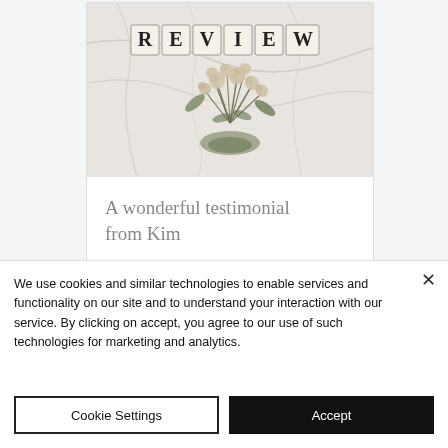[Figure (photo): A decorative photo showing scrabble tiles spelling REVIEW on a marble background with dried flowers beneath]
A wonderful testimonial from Kim
We use cookies and similar technologies to enable services and functionality on our site and to understand your interaction with our service. By clicking on accept, you agree to our use of such technologies for marketing and analytics.